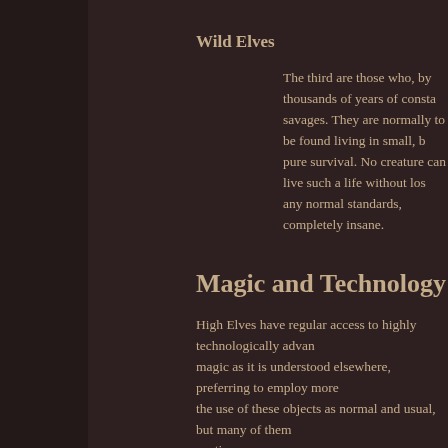Wild Elves
The third are those who, by thousands of years of constant struggle for bare survival. No creature can live such a life without losing their sanity and, by any normal standards, completely insane.
Magic and Technology
High Elves have regular access to highly technologically advanced objects. They have little magic as it is understood elsewhere, preferring to employ more technological means. Most regard the use of these objects as normal and usual, but many of them treat them with great caution.
Wild Elves, for the most part, have lost the knowledge required to use such objects. Their descent into barbarism and ignorance has resulted in the adoption of superstition; although they may still possess items of great potency from the Ancient Days, they treat them as magic rather than as technological objects.
Religion